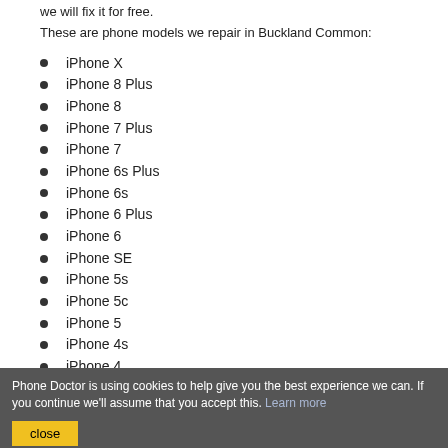we will fix it for free.
These are phone models we repair in Buckland Common:
iPhone X
iPhone 8 Plus
iPhone 8
iPhone 7 Plus
iPhone 7
iPhone 6s Plus
iPhone 6s
iPhone 6 Plus
iPhone 6
iPhone SE
iPhone 5s
iPhone 5c
iPhone 5
iPhone 4s
iPhone 4
Phone Doctor is using cookies to help give you the best experience we can. If you continue we'll assume that you accept this. Learn more
close